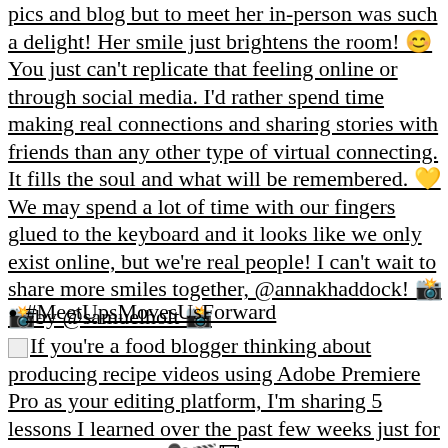pics and blog but to meet her in-person was such a delight! Her smile just brightens the room! 😊 You just can't replicate that feeling online or through social media. I'd rather spend time making real connections and sharing stories with friends than any other type of virtual connecting. It fills the soul and what will be remembered. 💛 We may spend a lot of time with our fingers glued to the keyboard and it looks like we only exist online, but we're real people! I can't wait to share more smiles together, @annakhaddock! 📸📸by @samuelholt 📸
#MeetUpsMovesUsForward
If you're a food blogger thinking about producing recipe videos using Adobe Premiere Pro as your editing platform, I'm sharing 5 lessons I learned over the past few weeks just for YOU, my friend. 🎥🎬🎞 • As someone that had zero video editing experience, it was really tough learning how to navigate my way through the program putting my first videos together. I learned so much that I wish I had